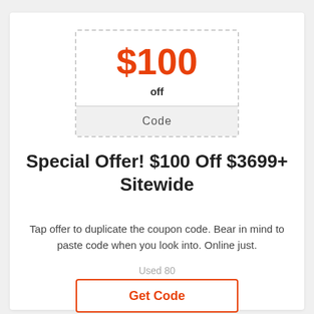[Figure (other): Coupon box with dashed border showing $100 off and a Code label]
Special Offer! $100 Off $3699+ Sitewide
Tap offer to duplicate the coupon code. Bear in mind to paste code when you look into. Online just.
Used 80
Get Code
in Home Gallery Furniture Coupons